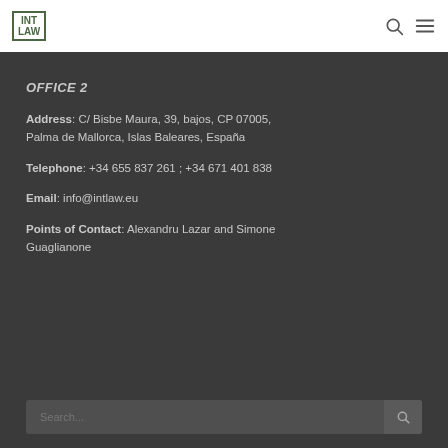[Figure (logo): INT LAW logo with green border box, two lines: INT on top, LAW below]
OFFICE 2
Address: C/ Bisbe Maura, 39, bajos, CP 07005, Palma de Mallorca, Islas Baleares, España
Telephone: +34 655 837 261 ; +34 671 401 838
Email: info@intlaw.eu
Points of Contact: Alexandru Lazar and Simone Guaglianone